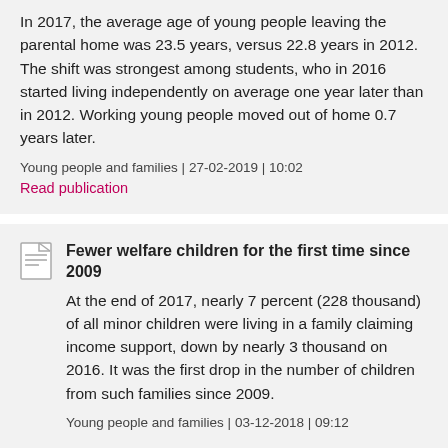In 2017, the average age of young people leaving the parental home was 23.5 years, versus 22.8 years in 2012. The shift was strongest among students, who in 2016 started living independently on average one year later than in 2012. Working young people moved out of home 0.7 years later.
Young people and families | 27-02-2019 | 10:02
Read publication
Fewer welfare children for the first time since 2009
At the end of 2017, nearly 7 percent (228 thousand) of all minor children were living in a family claiming income support, down by nearly 3 thousand on 2016. It was the first drop in the number of children from such families since 2009.
Young people and families | 03-12-2018 | 09:12